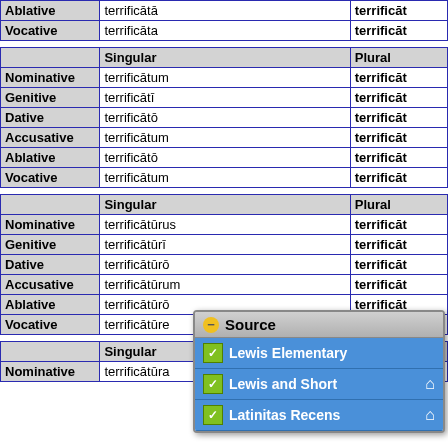|  | Singular | Plural |
| --- | --- | --- |
| Ablative | terrificātā | terrificāt |
| Vocative | terrificāta | terrificāt |
|  | Singular | Plural |
| --- | --- | --- |
| Nominative | terrificātum | terrificāt |
| Genitive | terrificātī | terrificāt |
| Dative | terrificātō | terrificāt |
| Accusative | terrificātum | terrificāt |
| Ablative | terrificātō | terrificāt |
| Vocative | terrificātum | terrificāt |
|  | Singular | Plural |
| --- | --- | --- |
| Nominative | terrificātūrus | terrificāt |
| Genitive | terrificātūrī | terrificāt |
| Dative | terrificātūrō | terrificāt |
| Accusative | terrificātūrum | terrificāt |
| Ablative | terrificātūrō | terrificāt |
| Vocative | terrificātūre |  |
|  | Singular | Plural |
| --- | --- | --- |
| Nominative | terrificātūra |  |
Source: Lewis Elementary, Lewis and Short, Latinitas Recens